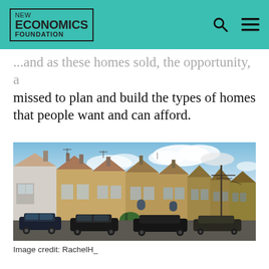NEW ECONOMICS FOUNDATION
...and as these homes sold, the opportunity, a missed to plan and build the types of homes that people want and can afford.
[Figure (photo): Street view of terraced brick houses in the UK with cars parked on the street and a partly cloudy sky overhead.]
Image credit: RachelH_